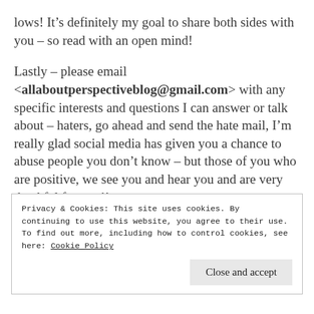lows! It's definitely my goal to share both sides with you – so read with an open mind!
Lastly – please email <allaboutperspectiveblog@gmail.com> with any specific interests and questions I can answer or talk about – haters, go ahead and send the hate mail, I'm really glad social media has given you a chance to abuse people you don't know – but those of you who are positive, we see you and hear you and are very thankful for you!!
Privacy & Cookies: This site uses cookies. By continuing to use this website, you agree to their use. To find out more, including how to control cookies, see here: Cookie Policy
Close and accept